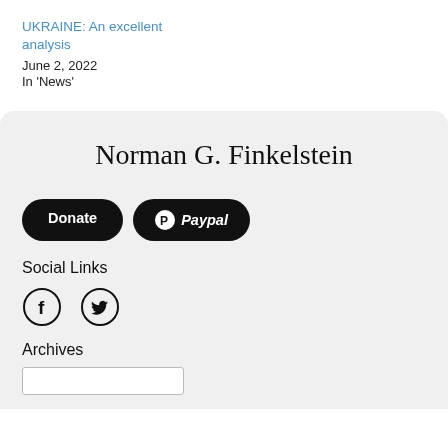UKRAINE: An excellent analysis
June 2, 2022
In 'News'
Norman G. Finkelstein
[Figure (other): Donate button and PayPal button side by side, black rounded rectangles]
Social Links
[Figure (other): Facebook and Twitter social icons (circular outlines with f and bird symbols)]
Archives
[Figure (other): Archive dropdown selector stub (white box with border)]